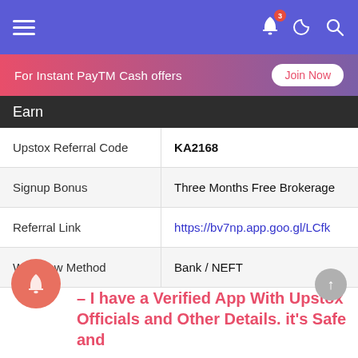Navigation bar with hamburger menu, notification bell (badge: 3), moon icon, search icon
For Instant PayTM Cash offers  Join Now
| Earn |  |
| --- | --- |
| Upstox Referral Code | KA2168 |
| Signup Bonus | Three Months Free Brokerage |
| Referral Link | https://bv7np.app.goo.gl/LCfk |
| Withdraw Method | Bank / NEFT |
– I have a Verified App With Upstox Officials and Other Details. it's Safe and